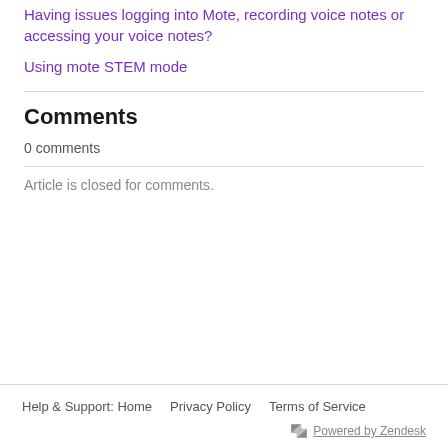Having issues logging into Mote, recording voice notes or accessing your voice notes?
Using mote STEM mode
Comments
0 comments
Article is closed for comments.
Help & Support: Home   Privacy Policy   Terms of Service   Powered by Zendesk